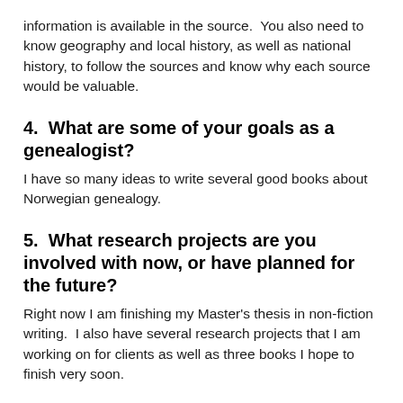information is available in the source.  You also need to know geography and local history, as well as national history, to follow the sources and know why each source would be valuable.
4.  What are some of your goals as a genealogist?
I have so many ideas to write several good books about Norwegian genealogy.
5.  What research projects are you involved with now, or have planned for the future?
Right now I am finishing my Master's thesis in non-fiction writing.  I also have several research projects that I am working on for clients as well as three books I hope to finish very soon.